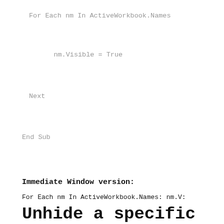For Each nm In ActiveWorkbook.Names
nm.Visible = True
Next
End Sub
Immediate Window version:
For Each nm In ActiveWorkbook.Names: nm.V:
Unhide a specific named